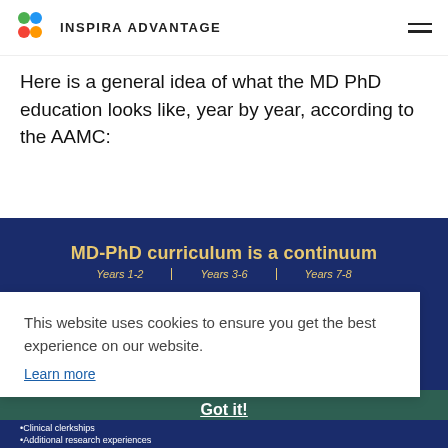INSPIRA ADVANTAGE
Here is a general idea of what the MD PhD education looks like, year by year, according to the AAMC:
[Figure (infographic): MD-PhD curriculum is a continuum diagram with year labels (Years 1-2, Years 3-6, Years 7-8) on a dark navy background with gold/yellow text, partially obscured by a cookie consent popup.]
This website uses cookies to ensure you get the best experience on our website.
Learn more
Got it!
•Clinical clerkships
•Additional research experiences